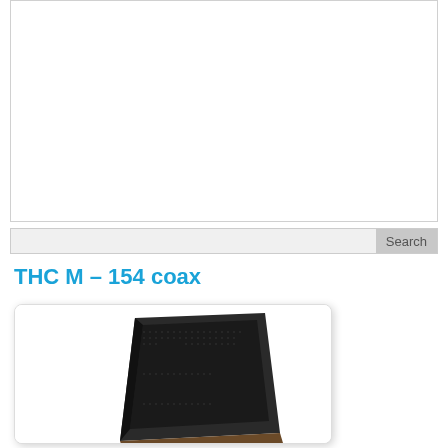[Figure (other): Top banner area - white rectangle with light border, appears to be an advertisement or image placeholder]
Search
THC M – 154 coax
[Figure (photo): Photo of a coaxial speaker (THC M – 154 coax) shown at an angle, black rectangular speaker with grille, displayed in a white rounded card with shadow]